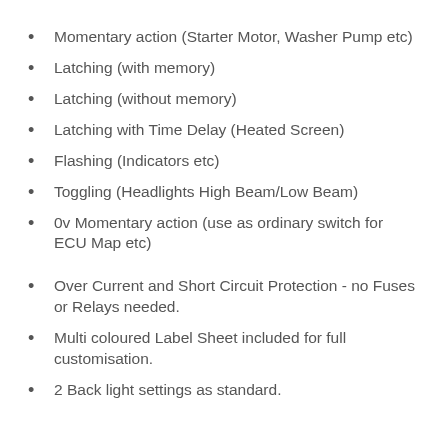Momentary action (Starter Motor, Washer Pump etc)
Latching (with memory)
Latching (without memory)
Latching with Time Delay (Heated Screen)
Flashing (Indicators etc)
Toggling (Headlights High Beam/Low Beam)
0v Momentary action (use as ordinary switch for ECU Map etc)
Over Current and Short Circuit Protection - no Fuses or Relays needed.
Multi coloured Label Sheet included for full customisation.
2 Back light settings as standard.